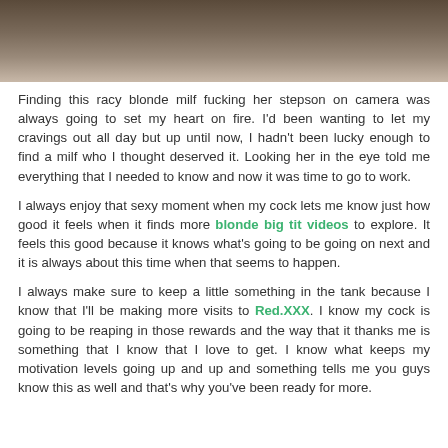[Figure (photo): Partial close-up photo at top of page, cropped, showing skin/hand tones in brown and beige.]
Finding this racy blonde milf fucking her stepson on camera was always going to set my heart on fire. I'd been wanting to let my cravings out all day but up until now, I hadn't been lucky enough to find a milf who I thought deserved it. Looking her in the eye told me everything that I needed to know and now it was time to go to work.
I always enjoy that sexy moment when my cock lets me know just how good it feels when it finds more blonde big tit videos to explore. It feels this good because it knows what's going to be going on next and it is always about this time when that seems to happen.
I always make sure to keep a little something in the tank because I know that I'll be making more visits to Red.XXX. I know my cock is going to be reaping in those rewards and the way that it thanks me is something that I know that I love to get. I know what keeps my motivation levels going up and up and something tells me you guys know this as well and that's why you've been ready for more.